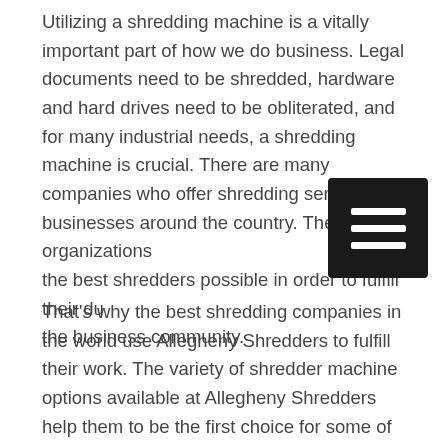Utilizing a shredding machine is a vitally important part of how we do business. Legal documents need to be shredded, hardware and hard drives need to be obliterated, and for many industrial needs, a shredding machine is crucial. There are many companies who offer shredding services to businesses around the country. These organizations the best shredders possible in order to fulfill their du the business community.
[Figure (other): Hamburger menu icon - three horizontal white bars on a dark/black square background]
That's why the best shredding companies in the world use Allegheny Shredders to fulfill their work. The variety of shredder machine options available at Allegheny Shredders help them to be the first choice for some of the top shredding machine companies in the world. In fact, the top 10 facilities in the world trust Allegheny Shredders for their machinery! Why work with anyone else except these guys for shredding machine work? So to figure out what machinery you will need for your facility, give a call today to (724) 468-